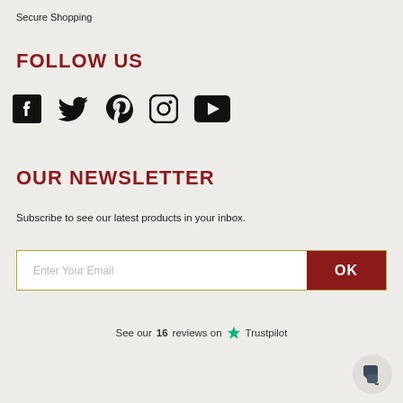Secure Shopping
FOLLOW US
[Figure (infographic): Five social media icons: Facebook, Twitter, Pinterest, Instagram, YouTube]
OUR NEWSLETTER
Subscribe to see our latest products in your inbox.
Enter Your Email | OK
See our 16 reviews on Trustpilot